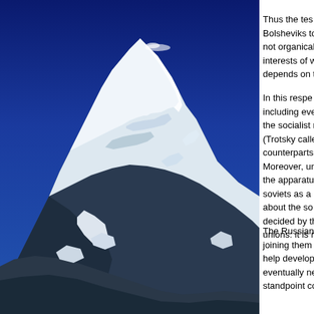[Figure (photo): Photograph of a snow-covered mountain peak (likely in the Himalayas) against a deep blue sky. The mountain shows dramatic rocky ridges covered in snow and ice.]
comm...
Thus the tes... Bolsheviks to... not organical... interests of w... depends on t...
In this respe... including eve... the socialist r... (Trotsky calle... counterparts ... Moreover, un... the apparatu... soviets as a ... about the so... decided by th... unions: it is n...
The Russian ... joining them t... help develop... eventually ne... standpoint co...